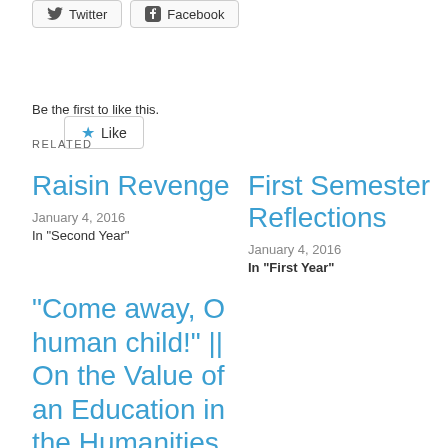[Figure (other): Twitter and Facebook share buttons]
[Figure (other): Like button with star icon]
Be the first to like this.
RELATED
Raisin Revenge
January 4, 2016
In "Second Year"
First Semester Reflections
January 4, 2016
In "First Year"
“Come away, O human child!” || On the Value of an Education in the Humanities for the Changeling Child – a Response to